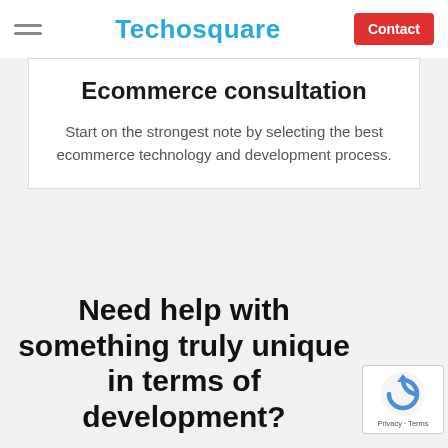Techosquare | Contact
Ecommerce consultation
Start on the strongest note by selecting the best ecommerce technology and development process.
Need help with something truly unique in terms of development?
[Figure (logo): Google reCAPTCHA badge with circular arrow logo and 'Privacy - Terms' text]